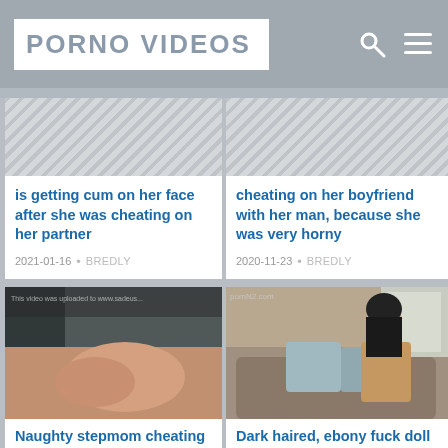PORNO VIDEOS
is getting cum on her face after she was cheating on her partner
2021-01-16 · BREDLY
cheating on her boyfriend with her man, because she was very horny
2020-11-23 · BREDLY
[Figure (photo): Video thumbnail showing close-up skin tones with watermark text]
[Figure (photo): Video thumbnail showing a dark-haired woman sitting on a couch with pornN2.com watermark]
Naughty stepmom cheating multiple times
2020-11-19 · BREDLY
Dark haired, ebony fuck doll is wearing nothing but black sandals with high heels